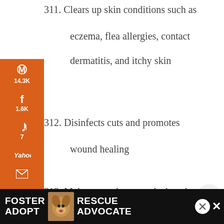311. Clears up skin conditions such as eczema, flea allergies, contact dermatitis, and itchy skin
312. Disinfects cuts and promotes wound healing
313. Makes coats become sleek and glossy
314. Prevents and treats yeast and fungal infections, including candida
[Figure (screenshot): Social sharing sidebar with Pinterest (14.3K), Facebook (1.6K), Twitter (7), Yahoo, Email, Print icons on orange background. Total shares 15.8K shown at bottom.]
[Figure (screenshot): Bottom advertisement bar: Foster Adopt / Rescue Advocate with dog photo, dark background with white text.]